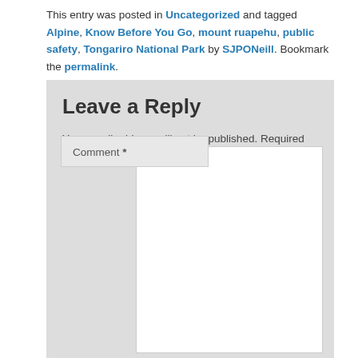This entry was posted in Uncategorized and tagged Alpine, Know Before You Go, mount ruapehu, public safety, Tongariro National Park by SJPONeill. Bookmark the permalink.
Leave a Reply
Your email address will not be published. Required fields are marked *
Comment *